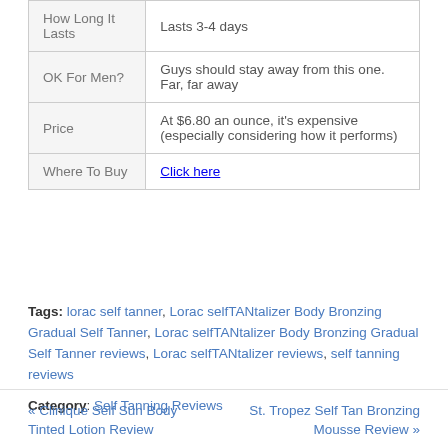|  |  |
| --- | --- |
| How Long It Lasts | Lasts 3-4 days |
| OK For Men? | Guys should stay away from this one.  Far, far away |
| Price | At $6.80 an ounce, it's expensive (especially considering how it performs) |
| Where To Buy | Click here |
Tags: lorac self tanner, Lorac selfTANtalizer Body Bronzing Gradual Self Tanner, Lorac selfTANtalizer Body Bronzing Gradual Self Tanner reviews, Lorac selfTANtalizer reviews, self tanning reviews
Category: Self Tanning Reviews
« Clinique Self Sun Body Tinted Lotion Review   St. Tropez Self Tan Bronzing Mousse Review »